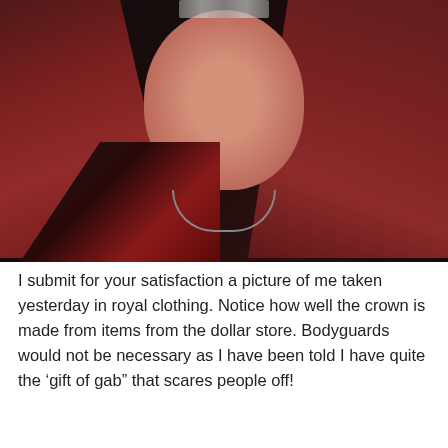[Figure (photo): A woman with long red hair wearing a black floral jacket and necklaces, smiling at the camera. She has a homemade crown on her head made from dollar store items.]
I submit for your satisfaction a picture of me taken yesterday in royal clothing. Notice how well the crown is made from items from the dollar store. Bodyguards would not be necessary as I have been told I have quite the 'gift of gab" that scares people off!